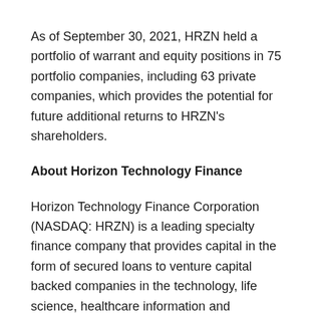As of September 30, 2021, HRZN held a portfolio of warrant and equity positions in 75 portfolio companies, including 63 private companies, which provides the potential for future additional returns to HRZN's shareholders.
About Horizon Technology Finance
Horizon Technology Finance Corporation (NASDAQ: HRZN) is a leading specialty finance company that provides capital in the form of secured loans to venture capital backed companies in the technology, life science, healthcare information and services, and sustainability industries. The investment objective of HRZN is to maximize its investment portfolio's return by generating current income from the debt investments it makes and capital appreciation from the warrants it receives when